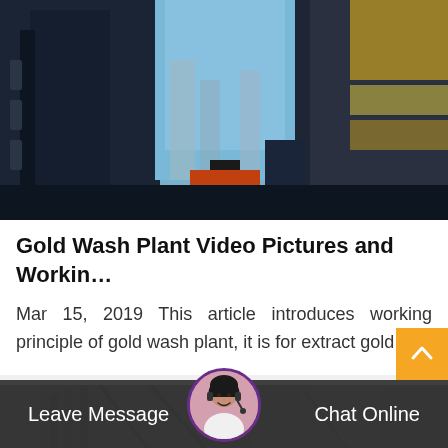[Figure (photo): Industrial gold wash plant machinery viewed from below, showing large dark machinery on left and right with blue sky and building structures visible between them, and an orange/red element in the center bottom]
Gold Wash Plant Video Pictures and Workin…
Mar 15, 2019 This article introduces working principle of gold wash plant, it is for extract gold…
[Figure (photo): Partially visible industrial machinery or plant structure in grayscale at the bottom of the page]
Leave Message   Chat Online